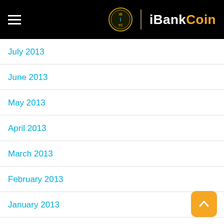iBankCoin
July 2013
June 2013
May 2013
April 2013
March 2013
February 2013
January 2013
December 2012
November 2012
October 2012
September 2012
August 2012
July 2012